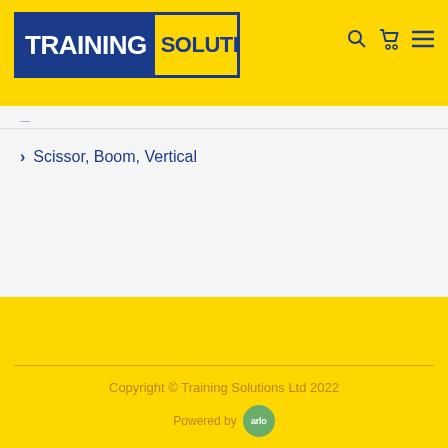[Figure (logo): Training Solutions logo: dark blue background with white bold text 'TRAINING' on the left, yellow background with dark blue bold text 'SOLUTIONS' on the right, all within a dark blue border.]
Scissor, Boom, Vertical
Copyright © Training Solutions Ltd 2022
[Figure (logo): Arlo logo badge - green circle with white 'arlo' text, next to 'Powered by' text]